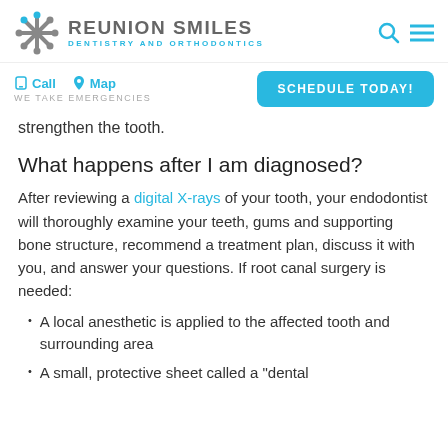REUNION SMILES DENTISTRY AND ORTHODONTICS
Call  Map  WE TAKE EMERGENCIES  SCHEDULE TODAY!
strengthen the tooth.
What happens after I am diagnosed?
After reviewing a digital X-rays of your tooth, your endodontist will thoroughly examine your teeth, gums and supporting bone structure, recommend a treatment plan, discuss it with you, and answer your questions. If root canal surgery is needed:
A local anesthetic is applied to the affected tooth and surrounding area
A small, protective sheet called a "dental